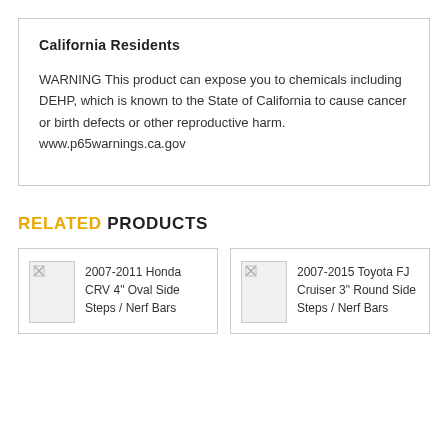California Residents
WARNING This product can expose you to chemicals including DEHP, which is known to the State of California to cause cancer or birth defects or other reproductive harm.  www.p65warnings.ca.gov
RELATED PRODUCTS
2007-2011 Honda CRV 4" Oval Side Steps / Nerf Bars
2007-2015 Toyota FJ Cruiser 3" Round Side Steps / Nerf Bars